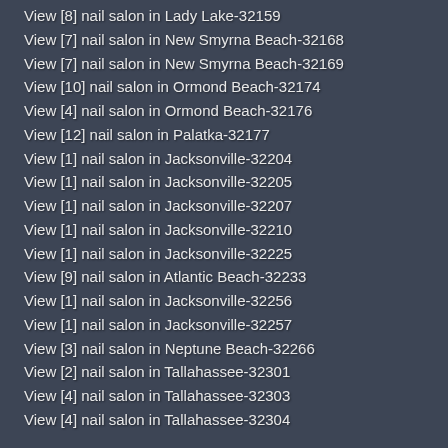View [8] nail salon in Lady Lake-32159
View [7] nail salon in New Smyrna Beach-32168
View [7] nail salon in New Smyrna Beach-32169
View [10] nail salon in Ormond Beach-32174
View [4] nail salon in Ormond Beach-32176
View [12] nail salon in Palatka-32177
View [1] nail salon in Jacksonville-32204
View [1] nail salon in Jacksonville-32205
View [1] nail salon in Jacksonville-32207
View [1] nail salon in Jacksonville-32210
View [1] nail salon in Jacksonville-32225
View [9] nail salon in Atlantic Beach-32233
View [1] nail salon in Jacksonville-32256
View [1] nail salon in Jacksonville-32257
View [3] nail salon in Neptune Beach-32266
View [2] nail salon in Tallahassee-32301
View [4] nail salon in Tallahassee-32303
View [4] nail salon in Tallahassee-32304